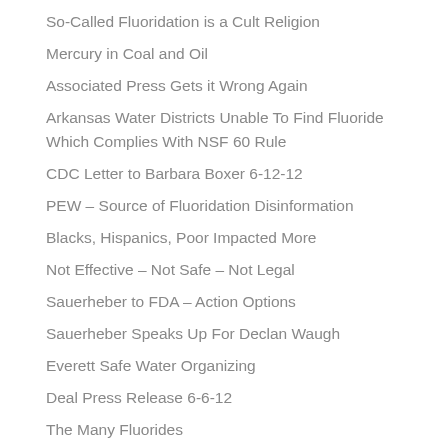So-Called Fluoridation is a Cult Religion
Mercury in Coal and Oil
Associated Press Gets it Wrong Again
Arkansas Water Districts Unable To Find Fluoride Which Complies With NSF 60 Rule
CDC Letter to Barbara Boxer 6-12-12
PEW – Source of Fluoridation Disinformation
Blacks, Hispanics, Poor Impacted More
Not Effective – Not Safe – Not Legal
Sauerheber to FDA – Action Options
Sauerheber Speaks Up For Declan Waugh
Everett Safe Water Organizing
Deal Press Release 6-6-12
The Many Fluorides
How Dr. Osmunson Changed His Mind About